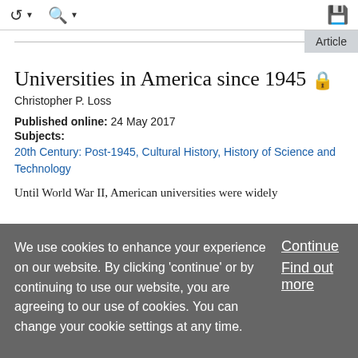toolbar with navigation icons and save icon
Universities in America since 1945
Christopher P. Loss
Published online: 24 May 2017
Subjects: 20th Century: Post-1945, Cultural History, History of Science and Technology
Until World War II, American universities were widely
We use cookies to enhance your experience on our website. By clicking 'continue' or by continuing to use our website, you are agreeing to our use of cookies. You can change your cookie settings at any time.